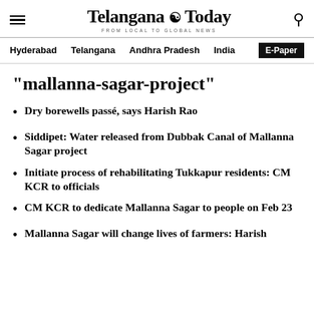Telangana Today — FROM LOCAL TO GLOBAL NEWS
Hyderabad  Telangana  Andhra Pradesh  India  E-Paper
"mallanna-sagar-project"
Dry borewells passé, says Harish Rao
Siddipet: Water released from Dubbak Canal of Mallanna Sagar project
Initiate process of rehabilitating Tukkapur residents: CM KCR to officials
CM KCR to dedicate Mallanna Sagar to people on Feb 23
Mallanna Sagar will change lives of farmers: Harish